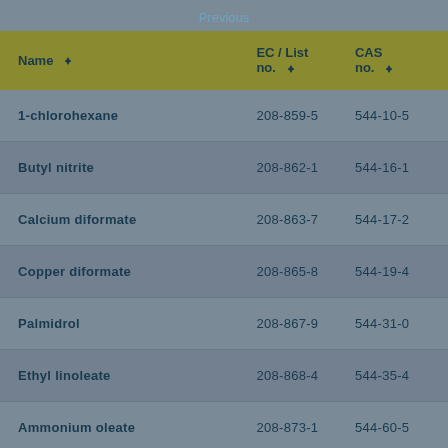Previous
| Name | EC / List no. | CAS no. |
| --- | --- | --- |
| 1-chlorohexane | 208-859-5 | 544-10-5 |
| Butyl nitrite | 208-862-1 | 544-16-1 |
| Calcium diformate | 208-863-7 | 544-17-2 |
| Copper diformate | 208-865-8 | 544-19-4 |
| Palmidrol | 208-867-9 | 544-31-0 |
| Ethyl linoleate | 208-868-4 | 544-35-4 |
| Ammonium oleate | 208-873-1 | 544-60-5 |